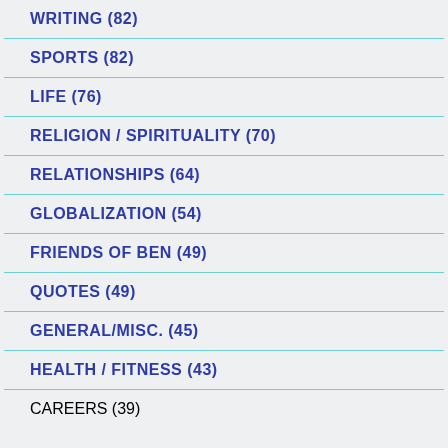WRITING (82)
SPORTS (82)
LIFE (76)
RELIGION / SPIRITUALITY (70)
RELATIONSHIPS (64)
GLOBALIZATION (54)
FRIENDS OF BEN (49)
QUOTES (49)
GENERAL/MISC. (45)
HEALTH / FITNESS (43)
CAREERS (39)